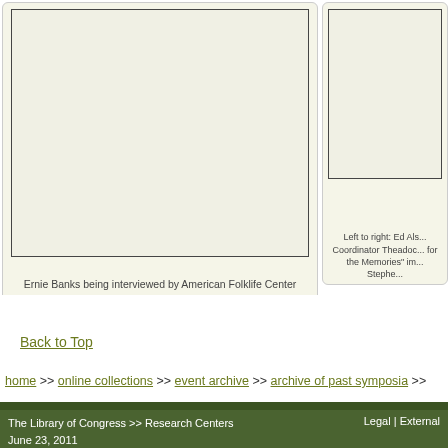[Figure (photo): Photo of Ernie Banks being interviewed, shown as an off-white card with image area and caption below]
Ernie Banks being interviewed by American Folklife Center Folklorist David Taylor. Photo by Stephen Winick,. October 3, 2009.
[Figure (photo): Second photo card partially visible on right side with caption about Left to right: Ed Als... Coordinator Theadoc... for the Memories im... Stephe...]
Left to right: Ed Als... Coordinator Theadoc... for the Memories" im... Stephe...
Back to Top
home >> online collections >> event archive >> archive of past symposia >>
A - Z Index | Find
The Library of Congress >> Research Centers June 23, 2011
Legal | External